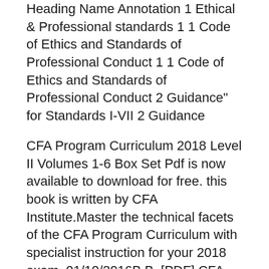Heading Name Annotation 1 Ethical & Professional standards 1 1 Code of Ethics and Standards of Professional Conduct 1 1 Code of Ethics and Standards of Professional Conduct 2 Guidance" for Standards I-VII 2 Guidance
CFA Program Curriculum 2018 Level II Volumes 1-6 Box Set Pdf is now available to download for free. this book is written by CFA Institute.Master the technical facets of the CFA Program Curriculum with specialist instruction for your 2018 exam. 01/10/2016B B· [PDF] CFA Program Curriculum 2017 Level II, Volumes 1 - 6 Popular Online